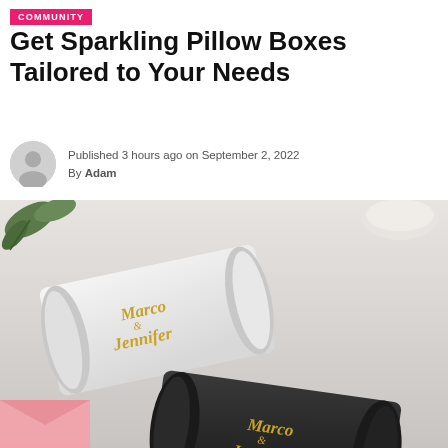COMMUNITY
Get Sparkling Pillow Boxes Tailored to Your Needs
Published 3 hours ago on September 2, 2022
By Adam
[Figure (photo): Two custom pillow boxes with gold foil script text reading 'Marco & Jennifer' — one white/gray box and one black box — arranged on a light gray surface with a pink envelope and green leaves in the background.]